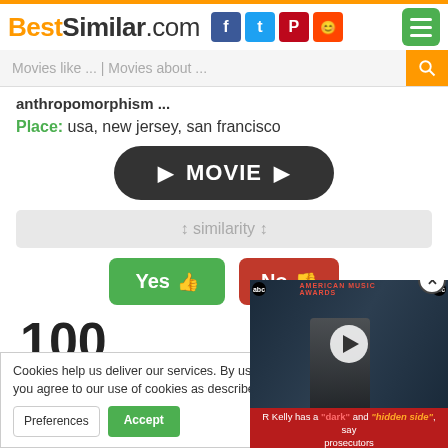BestSimilar.com
Movies like ... | Movies about ...
anthropomorphism ...
Place: usa, new jersey, san francisco
[Figure (screenshot): Dark rounded button with play arrows and text MOVIE]
⇕ similarity ⇕
[Figure (screenshot): Yes thumbs up button (green) and No thumbs down button (red)]
100
Cookies help us deliver our services. By us... you agree to our use of cookies as describe...
Preferences
Accept
[Figure (screenshot): Video overlay showing R Kelly at American Music Awards with caption: R Kelly has a dark and hidden side, say prosecutors]